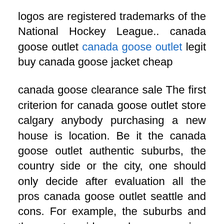logos are registered trademarks of the National Hockey League.. canada goose outlet canada goose outlet legit buy canada goose jacket cheap
canada goose clearance sale The first criterion for canada goose outlet store calgary anybody purchasing a new house is location. Be it the canada goose outlet authentic suburbs, the country side or the city, one should only decide after evaluation all the pros canada goose outlet seattle and cons. For example, the suburbs and the country side are less expensive. So, while the new site sends over more data, it does so in a more performant way. That official canada goose outlet looks canada goose vest outlet to make sense when looking through a lot of